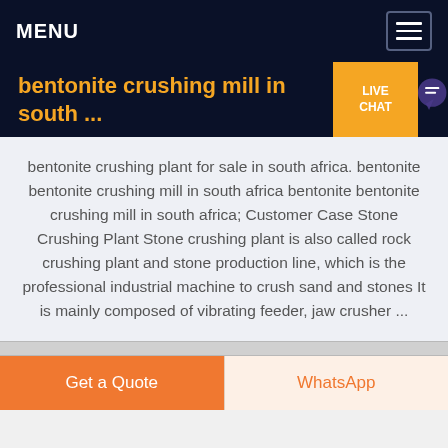MENU
bentonite crushing mill in south ...
bentonite crushing plant for sale in south africa. bentonite bentonite crushing mill in south africa bentonite bentonite crushing mill in south africa; Customer Case Stone Crushing Plant Stone crushing plant is also called rock crushing plant and stone production line, which is the professional industrial machine to crush sand and stones It is mainly composed of vibrating feeder, jaw crusher ...
Get a Quote
WhatsApp